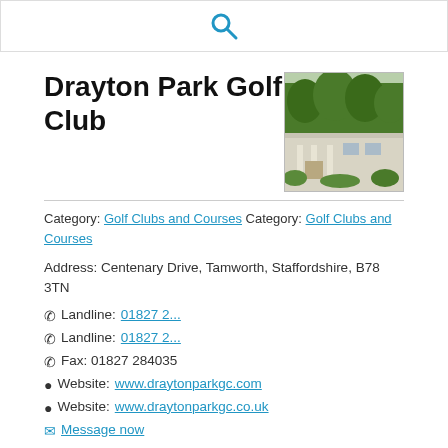(search icon)
Drayton Park Golf Club
[Figure (photo): Exterior photo of Drayton Park Golf Club building with trees in background]
Category: Golf Clubs and Courses Category: Golf Clubs and Courses
Address: Centenary Drive, Tamworth, Staffordshire, B78 3TN
Landline: 01827 2...
Landline: 01827 2...
Fax: 01827 284035
Website: www.draytonparkgc.com
Website: www.draytonparkgc.co.uk
Message now